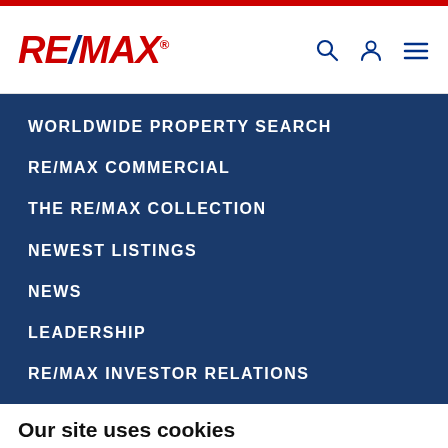RE/MAX
WORLDWIDE PROPERTY SEARCH
RE/MAX COMMERCIAL
THE RE/MAX COLLECTION
NEWEST LISTINGS
NEWS
LEADERSHIP
RE/MAX INVESTOR RELATIONS
RE/MAX HOLDINGS
INVEST IN A RE/MAX FRANCHISE
Our site uses cookies
This site uses cookies and related technologies for site operation, analytics, and third party advertising purposes as described in our Privacy Notice .